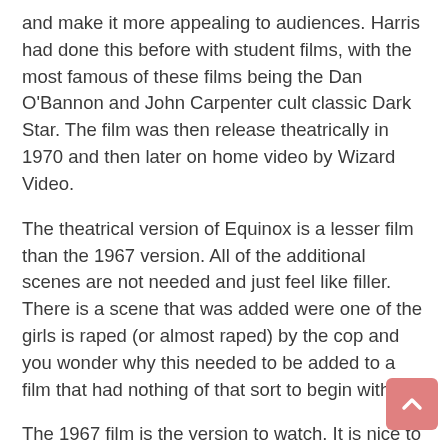and make it more appealing to audiences. Harris had done this before with student films, with the most famous of these films being the Dan O'Bannon and John Carpenter cult classic Dark Star. The film was then release theatrically in 1970 and then later on home video by Wizard Video.
The theatrical version of Equinox is a lesser film than the 1967 version. All of the additional scenes are not needed and just feel like filler. There is a scene that was added were one of the girls is raped (or almost raped) by the cop and you wonder why this needed to be added to a film that had nothing of that sort to begin with.
The 1967 film is the version to watch. It is nice to be able to have both versions (which I champion on any release that has more than one version) to be able to compare the two versions, but at the end of the day